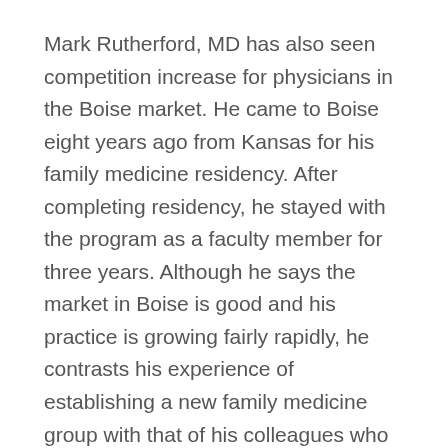Mark Rutherford, MD has also seen competition increase for physicians in the Boise market. He came to Boise eight years ago from Kansas for his family medicine residency. After completing residency, he stayed with the program as a faculty member for three years. Although he says the market in Boise is good and his practice is growing fairly rapidly, he contrasts his experience of establishing a new family medicine group with that of his colleagues who started practices several years before.
“I watched several of my companions come out of residency while I stayed there in the faculty position, and they just caught fire,” he says. “It changed quite a bit even in as short a period as three years. A lot of physicians have moved in in the last few years. It’s